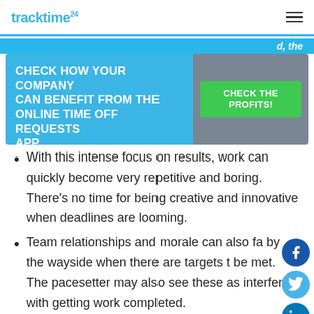tracktime24
d, the
[Figure (infographic): CTA banner: CHECK HOW YOUR COMPANY CAN BENEFIT FROM THE ONLINE TIME OFF REQUESTS APP | CHECK THE PROFITS!]
With this intense focus on results, work can quickly become very repetitive and boring. There's no time for being creative and innovative when deadlines are looming.
Team relationships and morale can also fall by the wayside when there are targets to be met. The pacesetter may also see these as interfering with getting work completed.